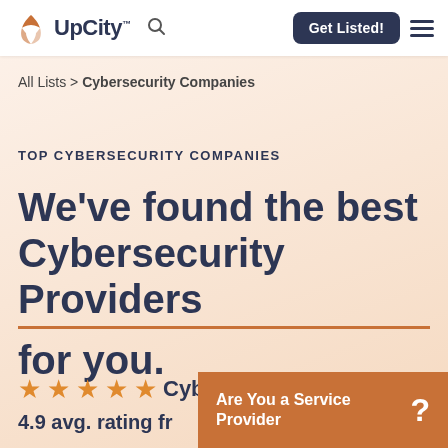UpCity™ [search icon] | Get Listed! [menu]
All Lists > Cybersecurity Companies
TOP CYBERSECURITY COMPANIES
We've found the best Cybersecurity Providers for you.
★★★★★  Cyber... 4.9 avg. rating fr...
Are You a Service Provider ?